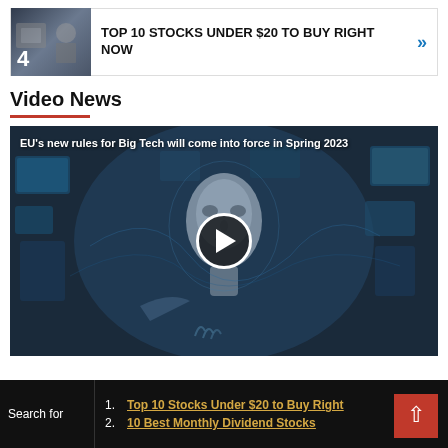[Figure (screenshot): Article card with thumbnail showing number 4 and two people at computers, linking to 'TOP 10 STOCKS UNDER $20 TO BUY RIGHT NOW' with a blue double-chevron arrow]
Video News
[Figure (screenshot): Video thumbnail showing a 3D rendered human head/face surrounded by floating digital screens in a dark blue environment. Caption reads: EU's new rules for Big Tech will come into force in Spring 2023. A circular play button is centered on the image.]
Search for
1. Top 10 Stocks Under $20 to Buy Right
2. 10 Best Monthly Dividend Stocks